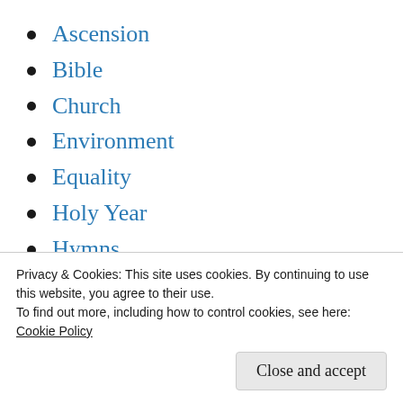Ascension
Bible
Church
Environment
Equality
Holy Year
Hymns
Inclusion
Justice
Politics
Privacy & Cookies: This site uses cookies. By continuing to use this website, you agree to their use.
To find out more, including how to control cookies, see here:
Cookie Policy
Close and accept